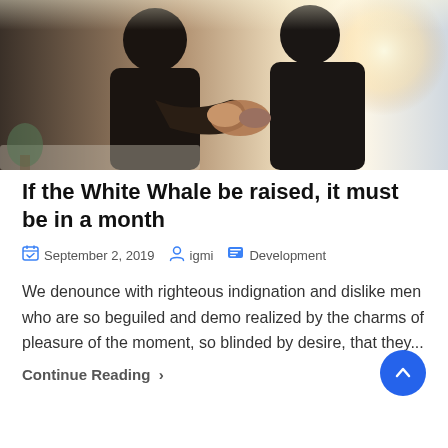[Figure (photo): Two people shaking hands in an office setting with bright backlight from a window]
If the White Whale be raised, it must be in a month
September 2, 2019   igmi   Development
We denounce with righteous indignation and dislike men who are so beguiled and demo realized by the charms of pleasure of the moment, so blinded by desire, that they...
Continue Reading →